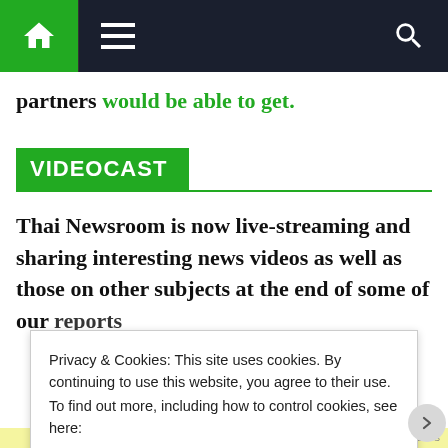Navigation bar with home, menu, and search icons
partners would be able to get.
VIDEOCAST
Thai Newsroom is now live-streaming and sharing interesting news videos as well as those on other subjects at the end of some of our reports
Privacy & Cookies: This site uses cookies. By continuing to use this website, you agree to their use.
To find out more, including how to control cookies, see here:
Cookie Policy
Close and accept